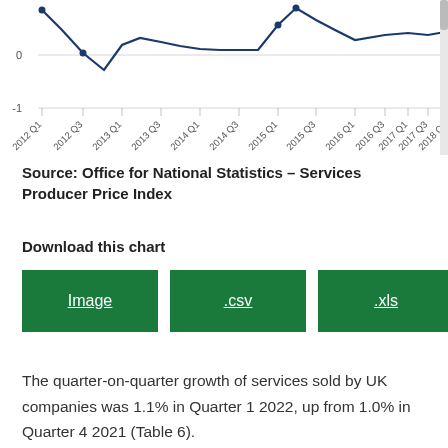[Figure (continuous-plot): Partial view of a line chart showing quarter-on-quarter growth of services sold by UK companies, x-axis labels from 2012 Q1 to 2018 Q1, y-axis showing values near 0 and -1, with a dark blue line dipping near 0 around 2012 Q3 and rising again around 2015 Q1.]
Source: Office for National Statistics – Services Producer Price Index
Download this chart
Image
.csv
.xls
The quarter-on-quarter growth of services sold by UK companies was 1.1% in Quarter 1 2022, up from 1.0% in Quarter 4 2021 (Table 6).